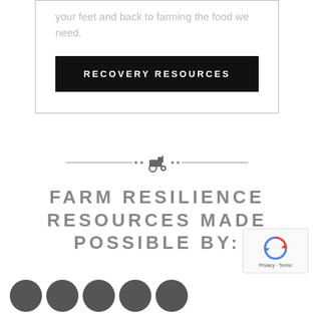your feet and back to farming the food we need.
RECOVERY RESOURCES
[Figure (illustration): Decorative divider with two horizontal lines, dots, and a small tractor icon in the center]
FARM RESILIENCE RESOURCES MADE POSSIBLE BY:
[Figure (other): reCAPTCHA widget showing recycling arrow logo and Privacy - Terms text]
[Figure (other): Row of circular social media or sponsor icons at bottom of page, partially cropped]